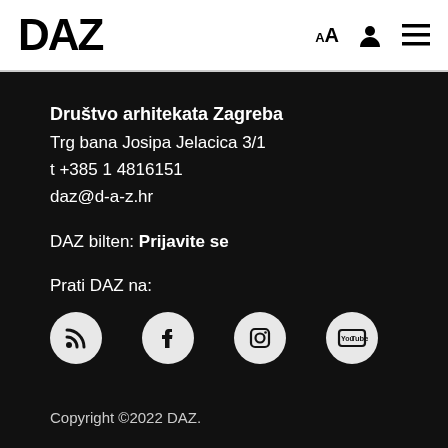DAZ
Društvo arhitekata Zagreba
Trg bana Josipa Jelacica 3/1
t +385 1 4816151
daz@d-a-z.hr
DAZ bilten: Prijavite se
Prati DAZ na:
[Figure (illustration): Social media icons: RSS feed, Facebook, Instagram, YouTube — white circles on black background]
Copyright ©2022 DAZ.